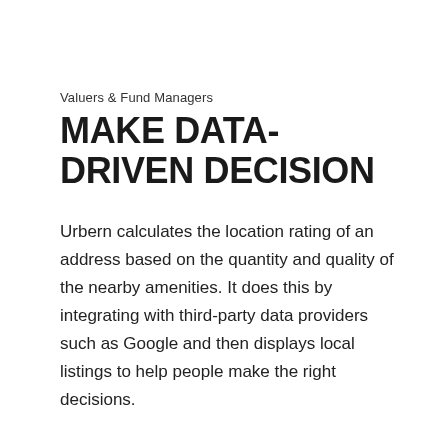Valuers & Fund Managers
MAKE DATA-DRIVEN DECISION
Urbern calculates the location rating of an address based on the quantity and quality of the nearby amenities. It does this by integrating with third-party data providers such as Google and then displays local listings to help people make the right decisions.